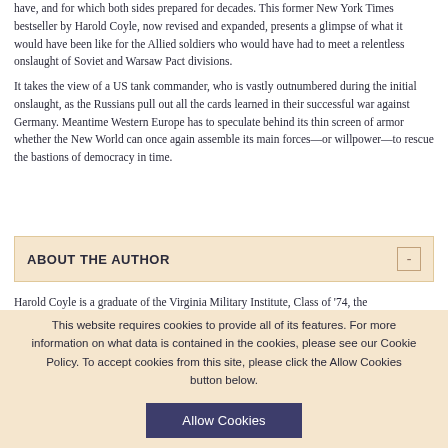have, and for which both sides prepared for decades. This former New York Times bestseller by Harold Coyle, now revised and expanded, presents a glimpse of what it would have been like for the Allied soldiers who would have had to meet a relentless onslaught of Soviet and Warsaw Pact divisions.
It takes the view of a US tank commander, who is vastly outnumbered during the initial onslaught, as the Russians pull out all the cards learned in their successful war against Germany. Meantime Western Europe has to speculate behind its thin screen of armor whether the New World can once again assemble its main forces—or willpower—to rescue the bastions of democracy in time.
ABOUT THE AUTHOR
Harold Coyle is a graduate of the Virginia Military Institute, Class of '74, the
This website requires cookies to provide all of its features. For more information on what data is contained in the cookies, please see our Cookie Policy. To accept cookies from this site, please click the Allow Cookies button below.